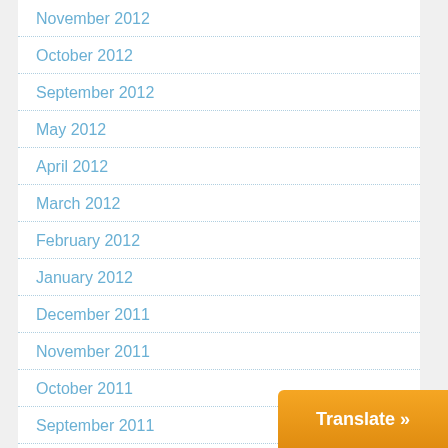November 2012
October 2012
September 2012
May 2012
April 2012
March 2012
February 2012
January 2012
December 2011
November 2011
October 2011
September 2011